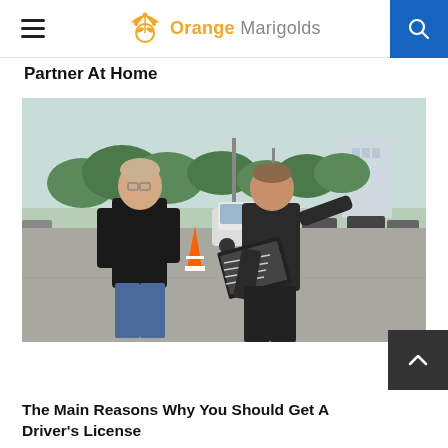Orange Marigolds
Partner At Home
[Figure (photo): Two men standing in a parking lot or driving test area. One man (left, wearing black) faces the other who holds a clipboard and points toward a white car. An orange traffic cone is visible between them. Trees and buildings in the background.]
The Main Reasons Why You Should Get A Driver's License